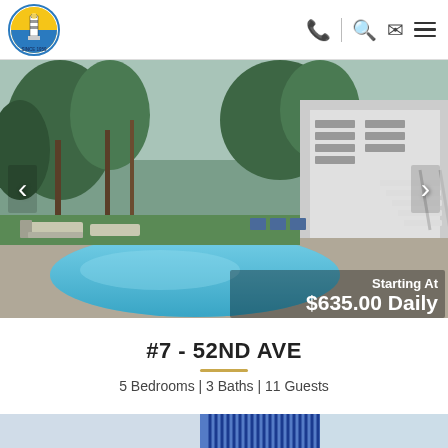[Figure (logo): Carroll Realty Inc. circular logo with lighthouse and yellow/blue design, 'Since 1959']
[Figure (photo): Outdoor swimming pool with lounge chairs, tropical trees, and elevated white beach house with external staircase in the background]
Starting At $635.00 Daily
#7 - 52ND AVE
5 Bedrooms | 3 Baths | 11 Guests
[Figure (photo): Partial view of interior room, partially visible at bottom of page]